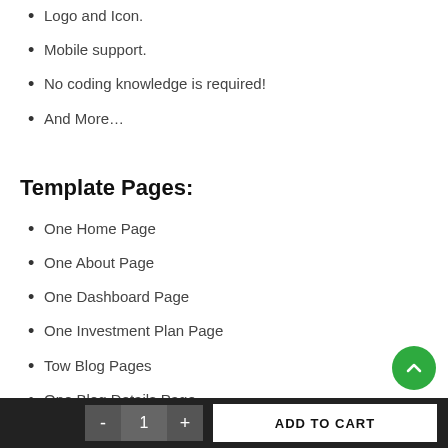Logo and Icon.
Mobile support.
No coding knowledge is required!
And More…
Template Pages:
One Home Page
One About Page
One Dashboard Page
One Investment Plan Page
Tow Blog Pages
One Blog Details Page
One Investor Page
One Faq Page
- 1 + ADD TO CART